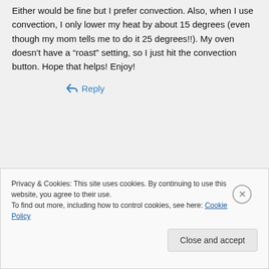Either would be fine but I prefer convection. Also, when I use convection, I only lower my heat by about 15 degrees (even though my mom tells me to do it 25 degrees!!). My oven doesn't have a “roast” setting, so I just hit the convection button. Hope that helps! Enjoy!
↪ Reply
REPORT THIS AD
Privacy & Cookies: This site uses cookies. By continuing to use this website, you agree to their use.
To find out more, including how to control cookies, see here: Cookie Policy
Close and accept